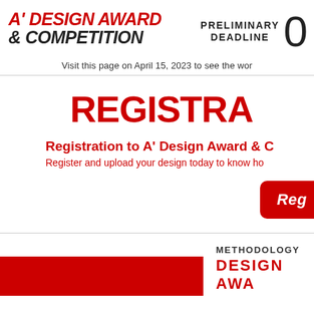[Figure (logo): A' Design Award & Competition logo with red italic A' and dark Competition text]
PRELIMINARY DEADLINE 0
Visit this page on April 15, 2023 to see the wor
REGISTRA
Registration to A' Design Award & C
Register and upload your design today to know ho
[Figure (other): Red rounded rectangle button with white italic text 'Reg']
METHODOLOGY
DESIGN AWA
[Figure (other): Red rectangle block at bottom left]